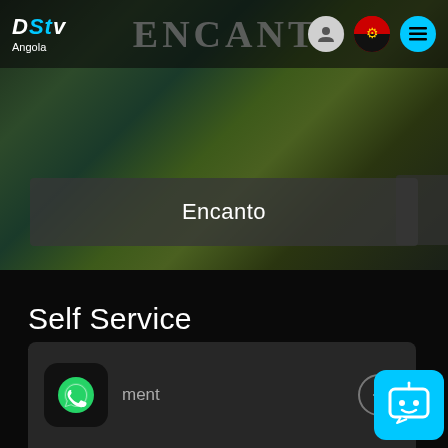[Figure (screenshot): DStv Angola website screenshot showing hero image with Encanto movie title in background]
DStv Angola
Encanto
Self Service
Take control, manage your DStv account easily!
[Figure (illustration): WhatsApp icon in black rounded square, with partially visible card text 'ment' and arrow button]
[Figure (illustration): Chatbot/DStv assistant icon in cyan rounded square, bottom right corner]